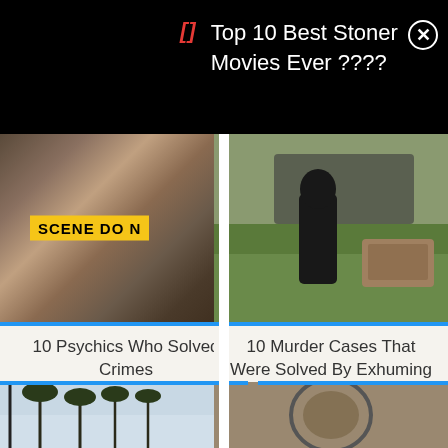Top 10 Best Stoner Movies Ever ????
[Figure (photo): Crime scene photo with yellow police tape reading 'SCENE DO N' visible, blurry close-up figures in foreground]
10 Psychics Who Solved Crimes
[Figure (photo): Outdoor scene with person in dark clothing seen from behind, a casket or box visible, grassy area with vehicle]
10 Murder Cases That Were Solved By Exhuming Dead Bodies
[Figure (photo): Partial bottom card left - palm trees silhouetted against sky with reflection]
[Figure (photo): Partial bottom card right - close-up blurry reddish-brown textured surface]